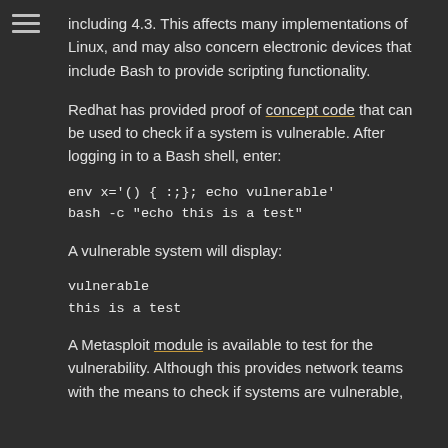[Figure (other): Hamburger menu icon (three horizontal lines) in the top-left corner]
including 4.3. This affects many implementations of Linux, and may also concern electronic devices that include Bash to provide scripting functionality.
Redhat has provided proof of concept code that can be used to check if a system is vulnerable. After logging in to a Bash shell, enter:
A vulnerable system will display:
A Metasploit module is available to test for the vulnerability. Although this provides network teams with the means to check if systems are vulnerable,